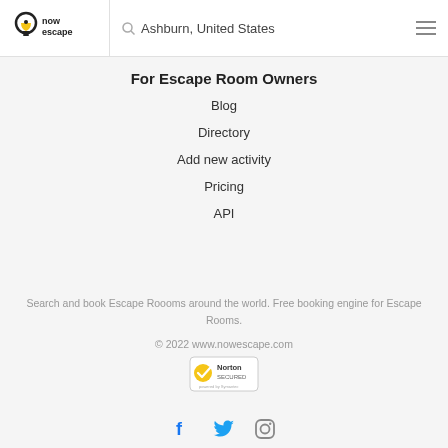Ashburn, United States
For Escape Room Owners
Blog
Directory
Add new activity
Pricing
API
Search and book Escape Roooms around the world. Free booking engine for Escape Rooms.
© 2022 www.nowescape.com
[Figure (logo): Norton Secured badge powered by Symantec]
[Figure (infographic): Social media icons: Facebook, Twitter, Instagram]